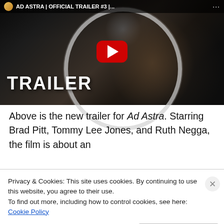[Figure (screenshot): YouTube video thumbnail for 'AD ASTRA | OFFICIAL TRAILER #3 |...' showing an astronaut's face inside a helmet with TRAILER text at the bottom left and a YouTube play button in the center]
Above is the new trailer for Ad Astra. Starring Brad Pitt, Tommy Lee Jones, and Ruth Negga, the film is about an astronaut who is sent to the outer edges of the solar
Privacy & Cookies: This site uses cookies. By continuing to use this website, you agree to their use.
To find out more, including how to control cookies, see here: Cookie Policy